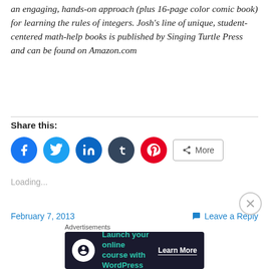an engaging, hands-on approach (plus 16-page color comic book) for learning the rules of integers. Josh's line of unique, student-centered math-help books is published by Singing Turtle Press and can be found on Amazon.com
Share this:
[Figure (other): Social share buttons: Facebook, Twitter, LinkedIn, Tumblr, Pinterest, and a More button]
Loading...
February 7, 2013    Leave a Reply
Advertisements  Launch your online course with WordPress  Learn More